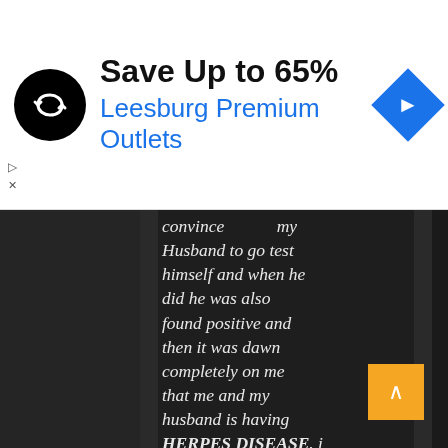[Figure (screenshot): Advertisement banner: black circular logo with infinity-like arrows symbol, text 'Save Up to 65%' in bold black and 'Leesburg Premium Outlets' in blue, blue diamond navigation icon on right. Small play and close markers on left edge.]
convince my Husband to go test himself and when he did he was also found positive and then it was dawn completely on me that me and my husband is having HERPES DISEASE. i went out in search of a solution despite my doctor told me that there was no remedy to curing me and my husband HERPES DISEASE VIRUS. when i was